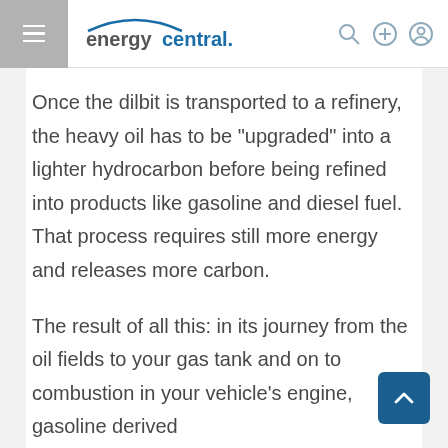energycentral
Once the dilbit is transported to a refinery, the heavy oil has to be “upgraded” into a lighter hydrocarbon before being refined into products like gasoline and diesel fuel. That process requires still more energy and releases more carbon.
The result of all this: in its journey from the oil fields to your gas tank and on to combustion in your vehicle’s engine, gasoline derived